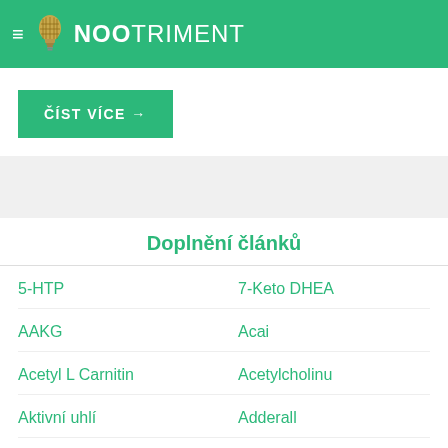NOOTRIMENT
ČÍST VÍCE →
Doplnění článků
5-HTP
7-Keto DHEA
AAKG
Acai
Acetyl L Carnitin
Acetylcholinu
Aktivní uhlí
Adderall
ADHD
Adrafinil